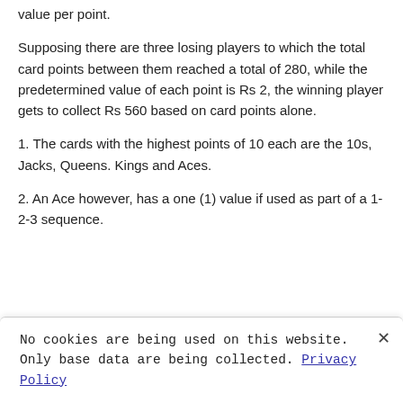value per point.
Supposing there are three losing players to which the total card points between them reached a total of 280, while the predetermined value of each point is Rs 2, the winning player gets to collect Rs 560 based on card points alone.
1. The cards with the highest points of 10 each are the 10s, Jacks, Queens. Kings and Aces.
2. An Ace however, has a one (1) value if used as part of a 1-2-3 sequence.
No cookies are being used on this website. Only base data are being collected. Privacy Policy